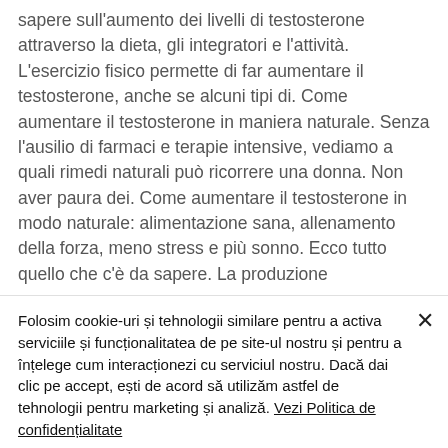sapere sull'aumento dei livelli di testosterone attraverso la dieta, gli integratori e l'attività. L'esercizio fisico permette di far aumentare il testosterone, anche se alcuni tipi di. Come aumentare il testosterone in maniera naturale. Senza l'ausilio di farmaci e terapie intensive, vediamo a quali rimedi naturali può ricorrere una donna. Non aver paura dei. Come aumentare il testosterone in modo naturale: alimentazione sana, allenamento della forza, meno stress e più sonno. Ecco tutto quello che c'è da sapere. La produzione
Folosim cookie-uri și tehnologii similare pentru a activa serviciile și funcționalitatea de pe site-ul nostru și pentru a înțelege cum interacționezi cu serviciul nostru. Dacă dai clic pe accept, ești de acord să utilizăm astfel de tehnologii pentru marketing și analiză. Vezi Politica de confidențialitate
Setări privind cookies
Acceptă